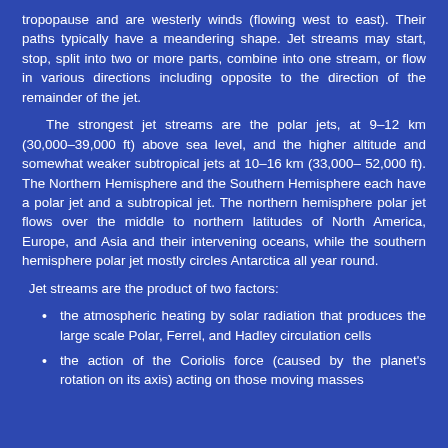tropopause and are westerly winds (flowing west to east). Their paths typically have a meandering shape. Jet streams may start, stop, split into two or more parts, combine into one stream, or flow in various directions including opposite to the direction of the remainder of the jet.
The strongest jet streams are the polar jets, at 9–12 km (30,000–39,000 ft) above sea level, and the higher altitude and somewhat weaker subtropical jets at 10–16 km (33,000–52,000 ft). The Northern Hemisphere and the Southern Hemisphere each have a polar jet and a subtropical jet. The northern hemisphere polar jet flows over the middle to northern latitudes of North America, Europe, and Asia and their intervening oceans, while the southern hemisphere polar jet mostly circles Antarctica all year round.
Jet streams are the product of two factors:
the atmospheric heating by solar radiation that produces the large scale Polar, Ferrel, and Hadley circulation cells
the action of the Coriolis force (caused by the planet's rotation on its axis) acting on those moving masses